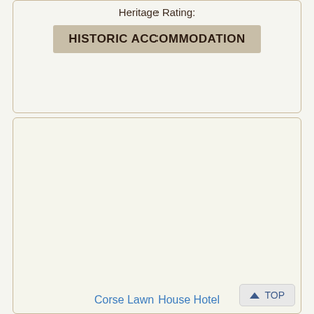Heritage Rating:
HISTORIC ACCOMMODATION
[Figure (other): Empty cream-colored card panel]
Corse Lawn House Hotel
▲ TOP